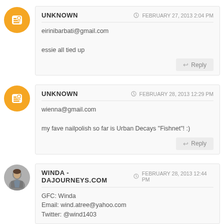UNKNOWN — FEBRUARY 27, 2013 2:04 PM
eirinibarbati@gmail.com

essie all tied up
[Reply]
UNKNOWN — FEBRUARY 28, 2013 12:29 PM
wienna@gmail.com

my fave nailpolish so far is Urban Decays "Fishnet"! :)
[Reply]
WINDA - DAJOURNEYS.COM — FEBRUARY 28, 2013 12:44 PM
GFC: Winda
Email: wind.atree@yahoo.com
Twitter: @wind1403